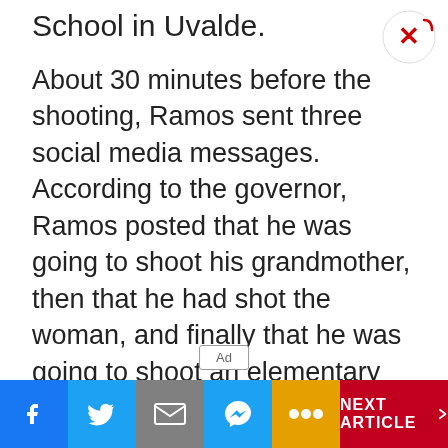School in Uvalde.
About 30 minutes before the shooting, Ramos sent three social media messages. According to the governor, Ramos posted that he was going to shoot his grandmother, then that he had shot the woman, and finally that he was going to shoot an elementary school.
ADVERTISEMENT
[Figure (other): Advertisement placeholder box with 'Ad' badge]
[Figure (other): Bottom navigation bar with Facebook, Twitter, Mail, Messenger, More icons and NEXT ARTICLE button]